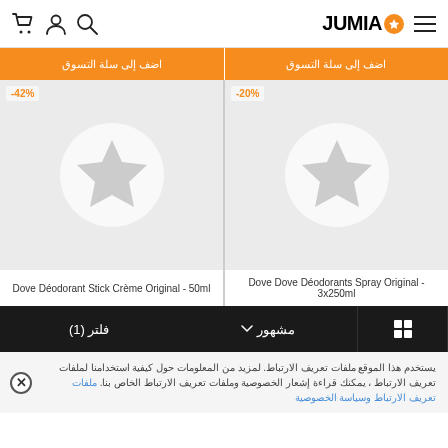JUMIA
[Figure (screenshot): Two product cards showing Jumia e-commerce items. Left card: -42% discount badge, placeholder image with white circle and star logo, title 'Dove Déodorant Stick Crème Original - 50ml'. Right card: -20% discount badge, placeholder image with white circle and star logo, title 'Dove Dove Déodorants Spray Original - 3x250ml'. Both have orange 'اضف إلى سلة التسوق' (Add to cart) buttons at top.]
مشهور ∨  فلتر (1)
يستخدم هذا الموقع ملفات تعريف الارتباط. لمزيد من المعلومات حول كيفية استخدامنا لملفات تعريف الارتباط ، يمكنك قراءة إشعار الخصوصية وملفات تعريف الارتباط الخاص بنا. ملفات تعريف الارتباط وسياسة الخصوصية